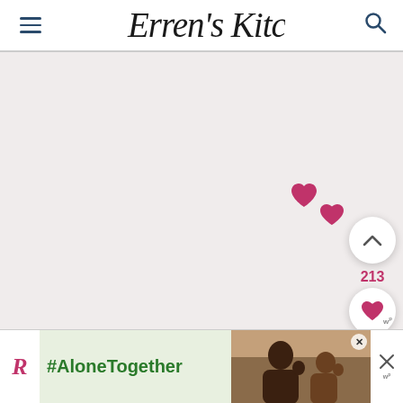Erren's Kitchen — navigation header with hamburger menu, logo, and search icon
[Figure (screenshot): Main content area with light pinkish-grey background, two floating pink heart icons, a scroll-to-top circular button with an up chevron, a like count of 213 in pink, a circular like button with a heart icon, a circular pink search button, and a 'w' watermark badge.]
[Figure (screenshot): Advertisement banner at the bottom: a '#AloneTogether' ad in a green box with a photo of a man and child waving, a close X button, and a dismiss X with 'w' badge on the right.]